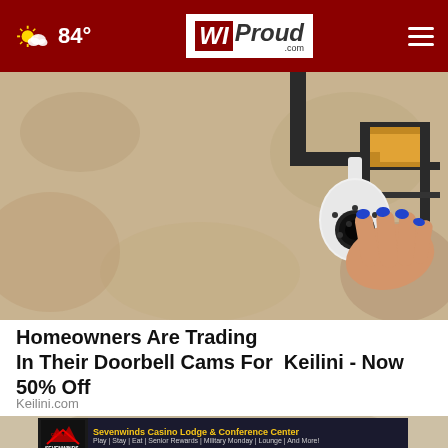84° | WIProud.com
[Figure (photo): A hand with blue nail polish holding a white security camera bulb light installed on a textured beige wall with a black metal bracket lantern]
Homeowners Are Trading In Their Doorbell Cams For Keilini - Now 50% Off
Keilini.com
[Figure (photo): Partial view of an elderly person's face with cash bills visible, with a Sevenwinds Casino Lodge & Conference Center advertisement overlay]
Sevenwinds Casino Lodge & Conference Center — Play | Stay | Eat | Senior Rewards | Military Monday | Lounge | And More!